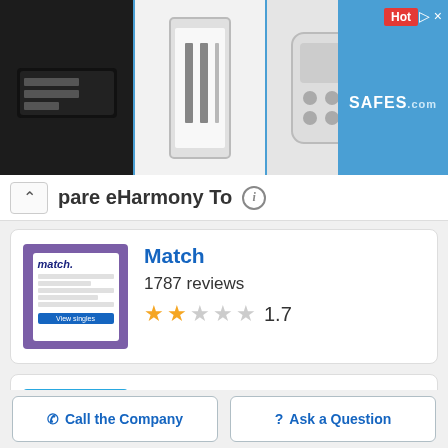[Figure (photo): Advertisement banner showing a row of safe product images with SAFES branding and a Hot badge]
pare eHarmony To
[Figure (photo): Match.com logo/screenshot showing the match website interface with form fields]
Match
1787 reviews
1.7 star rating
[Figure (photo): Zoosk logo on blue background]
Zoosk
5040 reviews
Call the Company
Ask a Question